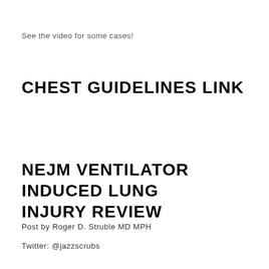See the video for some cases!
CHEST GUIDELINES LINK
NEJM VENTILATOR INDUCED LUNG INJURY REVIEW
Post by Roger D. Struble MD MPH
Twitter: @jazzscrubs